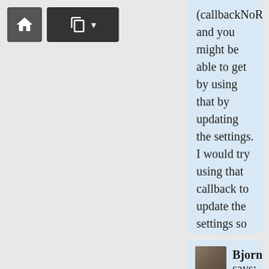[Figure (screenshot): Toolbar with home button and copy/share button with dropdown arrow]
(callbackNoResults) and you might be able to get by using that by updating the settings. I would try using that callback to update the settings so that the dataLocation (_this.settings.dataLocation) was changed to a separate data file with the 6 locations, then setting the originMarker setting to true, then run the mapping function again. I would have to do some testing to see if that would work. I'm not positive if you can reassign the settings in a callback.
Reply
Bjorn says: